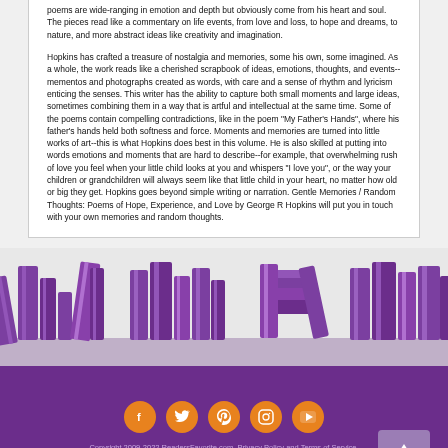poems are wide-ranging in emotion and depth but obviously come from his heart and soul. The pieces read like a commentary on life events, from love and loss, to hope and dreams, to nature, and more abstract ideas like creativity and imagination.
Hopkins has crafted a treasure of nostalgia and memories, some his own, some imagined. As a whole, the work reads like a cherished scrapbook of ideas, emotions, thoughts, and events--mementos and photographs created as words, with care and a sense of rhythm and lyricism enticing the senses. This writer has the ability to capture both small moments and large ideas, sometimes combining them in a way that is artful and intellectual at the same time. Some of the poems contain compelling contradictions, like in the poem "My Father's Hands", where his father's hands held both softness and force. Moments and memories are turned into little works of art--this is what Hopkins does best in this volume. He is also skilled at putting into words emotions and moments that are hard to describe--for example, that overwhelming rush of love you feel when your little child looks at you and whispers "I love you", or the way your children or grandchildren will always seem like that little child in your heart, no matter how old or big they get. Hopkins goes beyond simple writing or narration. Gentle Memories / Random Thoughts: Poems of Hope, Experience, and Love by George R Hopkins will put you in touch with your own memories and random thoughts.
[Figure (illustration): Purple silhouette illustration of stacked books on a light gray background, used as a decorative banner.]
Copyright 2009-2022 ReadersFavorite.com. Privacy Policy and Terms of Service.